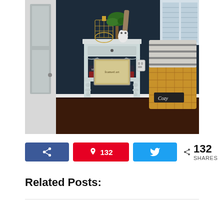[Figure (photo): Interior home decor photo showing a white distressed side table with one drawer, decorative turned legs, and a lower shelf holding books and a framed picture. On top sits a gold wire birdcage decoration, a white owl figurine, and a driftwood piece with greenery. To the left is a white French door, to the right is a wicker basket labeled 'Cozy' containing a striped blanket. Background is a dark navy wall with a window.]
k  |  Pin 132  |  Tweet  |  < 132 SHARES
Related Posts: